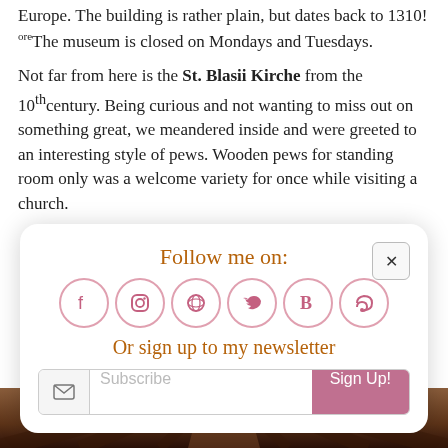Europe. The building is rather plain, but dates back to 1310! ore The museum is closed on Mondays and Tuesdays.
Not far from here is the St. Blasii Kirche from the 10th century. Being curious and not wanting to miss out on something great, we meandered inside and were greeted to an interesting style of pews. Wooden pews for standing room only was a welcome variety for once while visiting a church.
[Figure (screenshot): A social media follow widget popup with title 'Follow me on:', social icons (Facebook, Instagram, Pinterest, Twitter, Bloglovin, RSS), a newsletter signup section with text 'Or sign up to my newsletter', and a Subscribe email input field with a pink 'Sign Up!' button.]
[Figure (photo): Photo of wooden church pews viewed from the front, showing a central aisle receding into the distance.]